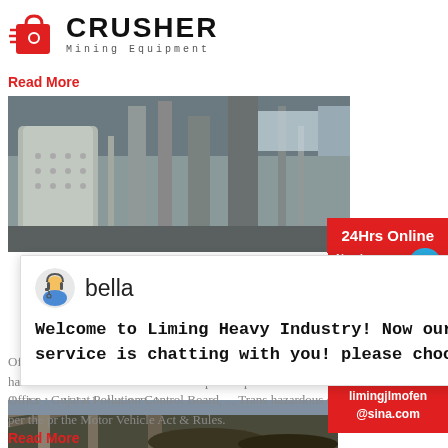[Figure (logo): Crusher Mining Equipment logo with red shopping bag icon and bold CRUSHER text]
Read More
[Figure (photo): Industrial mining facility interior with large cylindrical equipment, pipes, and structural framework]
[Figure (screenshot): Chat popup with avatar of 'bella' and message: Welcome to Liming Heavy Industry! Now our on-line service is chatting with you! please choose:]
Office : Gujarat Pollution Control Board, ... Trans hazardous chemicals shall be done as per the pr the Motor Vehicle Act & Rules.
Read More
[Figure (photo): Outdoor mining conveyor belt system with large industrial machinery and coal or ore piles]
[Figure (infographic): Red sidebar with 24Hrs Online badge, Need & suggestions area with blue circle showing 1, Chat Now button, Enquiry button, limingjlmofen@sina.com email]